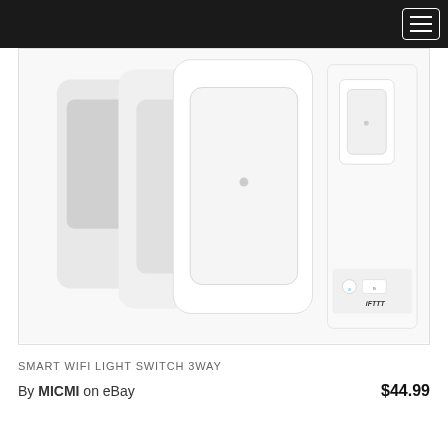[Figure (photo): Product photo of Smart WiFi Light Switch 3Way — three white smart light switches shown stacked/arranged, with a product box visible on the right side showing Amazon Alexa, Google Assistant, and IFTTT compatibility logos.]
SMART WIFI LIGHT SWITCH 3WAY
By MICMI  on eBay  $44.99